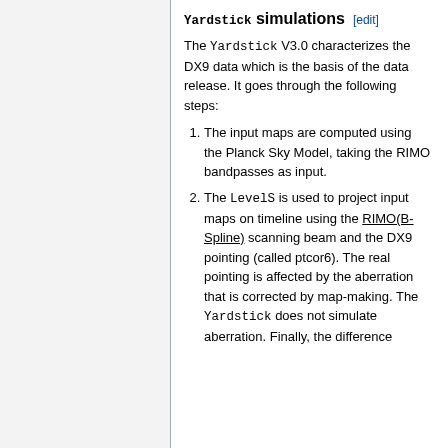Yardstick simulations [edit]
The Yardstick V3.0 characterizes the DX9 data which is the basis of the data release. It goes through the following steps:
The input maps are computed using the Planck Sky Model, taking the RIMO bandpasses as input.
The LevelS is used to project input maps on timeline using the RIMO(B-Spline) scanning beam and the DX9 pointing (called ptcor6). The real pointing is affected by the aberration that is corrected by map-making. The Yardstick does not simulate aberration. Finally, the difference